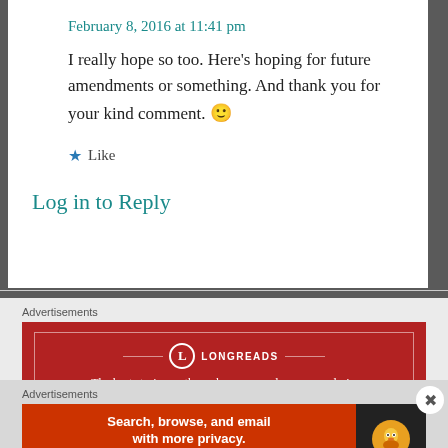February 8, 2016 at 11:41 pm
I really hope so too. Here's hoping for future amendments or something. And thank you for your kind comment. 🙂
Like
Log in to Reply
Advertisements
[Figure (other): Longreads advertisement banner: dark red background with logo and tagline 'The best stories on the web – ours, and everyone else's.']
REPORT THIS AD
Advertisements
[Figure (other): DuckDuckGo advertisement: orange-red background with text 'Search, browse, and email with more privacy. All in One Free App' and DuckDuckGo logo on dark right panel.]